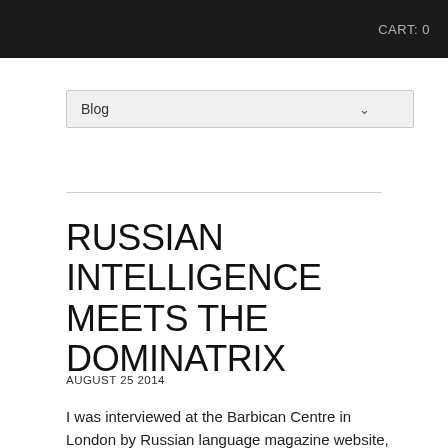CART: 0
Blog
RUSSIAN INTELLIGENCE MEETS THE DOMINATRIX
AUGUST 25 2014
I was interviewed at the Barbican Centre in London by Russian language magazine website, Honeymilk, on the topic of the Dominatrix and beyond. For the use of